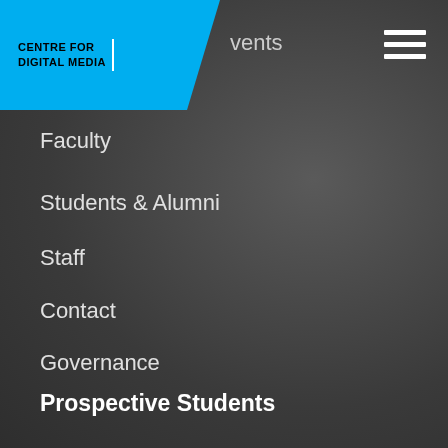[Figure (logo): Centre for Digital Media logo on blue background]
Events
Faculty
Students & Alumni
Staff
Contact
Governance
Prospective Students
How to Apply
Admission Requirements
Tuition & Fees